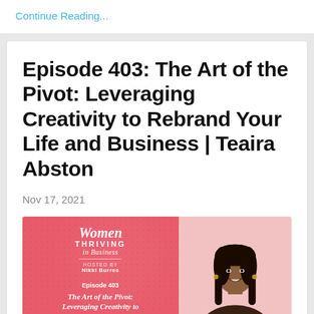Continue Reading...
Episode 403: The Art of the Pivot: Leveraging Creativity to Rebrand Your Life and Business | Teaira Abston
Nov 17, 2021
[Figure (illustration): Podcast episode cover image split in two halves: left half is coral/red background with dotted texture showing 'Women Thriving in Business' podcast branding, 'Episode 403', and 'The Art of the Pivot:' subtitle text in white; right half is light pink background showing a smiling Black woman with long dark hair.]